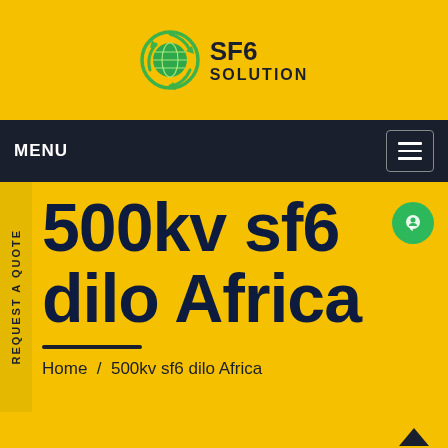[Figure (logo): SF6 Solution company logo: green recycling/globe icon with text 'SF6' in bold and 'SOLUTION' below it, on yellow background]
MENU
REQUEST A QUOTE
500kv sf6 dilo Africa
Home / 500kv sf6 dilo Africa